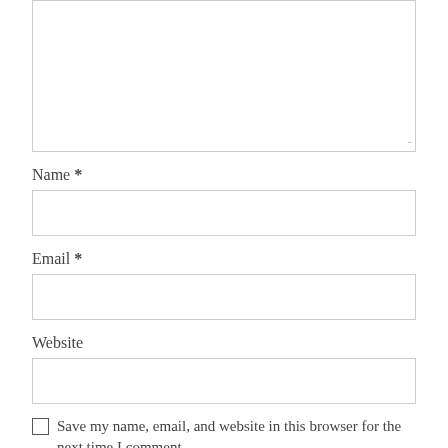[Figure (other): A large textarea input box (comment field) shown partially at the top of the page, with a resize handle at the bottom-right corner.]
Name *
[Figure (other): A single-line text input box for Name field.]
Email *
[Figure (other): A single-line text input box for Email field.]
Website
[Figure (other): A single-line text input box for Website field.]
Save my name, email, and website in this browser for the next time I comment.